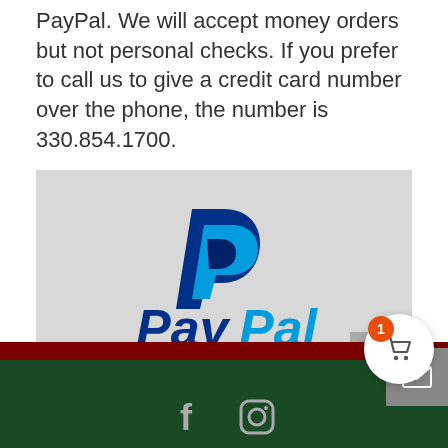PayPal. We will accept money orders but not personal checks. If you prefer to call us to give a credit card number over the phone, the number is 330.854.1700.
[Figure (logo): PayPal logo on light gray background. Blue 'P' icon above the text 'PayPal' with dark blue and light blue colors.]
Footer with dark red bar and dark green section with social media icons (Facebook, Instagram). Shopping cart button with badge showing '1'.